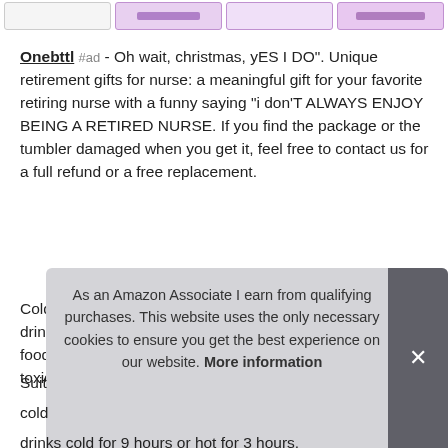[Figure (other): Four product thumbnail images in a row at the top of the page]
Onebttl #ad - Oh wait, christmas, yES I DO". Unique retirement gifts for nurse: a meaningful gift for your favorite retiring nurse with a funny saying "i don'T ALWAYS ENJOY BEING A RETIRED NURSE. If you find the package or the tumbler damaged when you get it, feel free to contact us for a full refund or a free replacement.
Cold drinks can be enjoyed cooler on summer days and hot drinks will stay hotter on cold days. Safe material: bpa free, food grade 18/8 304 stainless steel, eco-friendly and non-toxic.
More information
As an Amazon Associate I earn from qualifying purchases. This website uses the only necessary cookies to ensure you get the best experience on our website. More information
drinks cold for 9 hours or hot for 3 hours.